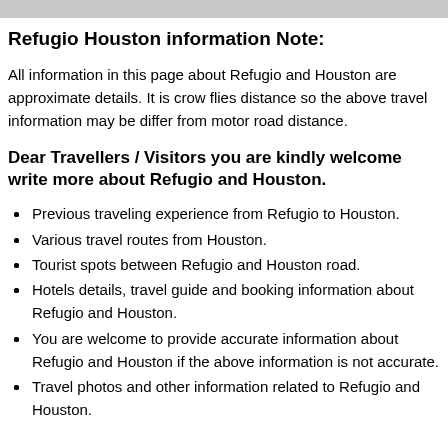Refugio Houston information Note:
All information in this page about Refugio and Houston are approximate details. It is crow flies distance so the above travel information may be differ from motor road distance.
Dear Travellers / Visitors you are kindly welcome write more about Refugio and Houston.
Previous traveling experience from Refugio to Houston.
Various travel routes from Houston.
Tourist spots between Refugio and Houston road.
Hotels details, travel guide and booking information about Refugio and Houston.
You are welcome to provide accurate information about Refugio and Houston if the above information is not accurate.
Travel photos and other information related to Refugio and Houston.